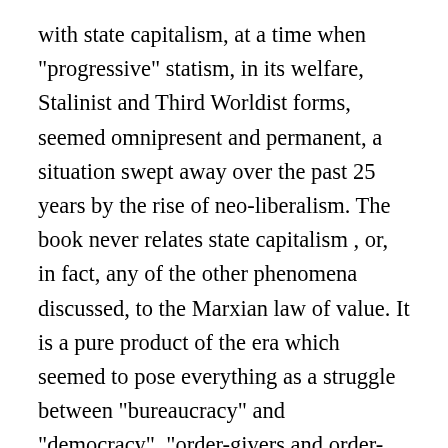with state capitalism, at a time when "progressive" statism, in its welfare, Stalinist and Third Worldist forms, seemed omnipresent and permanent, a situation swept away over the past 25 years by the rise of neo-liberalism. The book never relates state capitalism , or, in fact, any of the other phenomena discussed, to the Marxian law of value. It is a pure product of the era which seemed to pose everything as a struggle between "bureaucracy" and "democracy", "order-givers and order-takers". The book focuses almost exclusively (with the exception of Hungary) on workers' struggles and power on the shop floor, and is therefore (rightly) open to the charge of workerism, an excessive point-of-production focus, with elements that seem at times almost syndicalist. The examples offered of shop-floor power in the U.S., France and Britain were similarly swept away, or at the very least